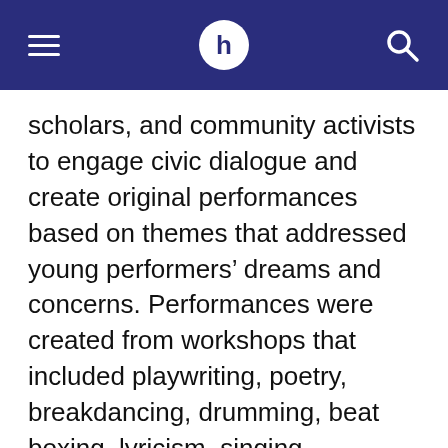HuffPost header navigation
scholars, and community activists to engage civic dialogue and create original performances based on themes that addressed young performers’ dreams and concerns. Performances were created from workshops that included playwriting, poetry, breakdancing, drumming, beat boxing, lyricism, singing, songwriting, stepping, and visual art. In ‘Umoja,’ young members from Project 2050 perform monologues exploring social issues ranging from immigration to women’s